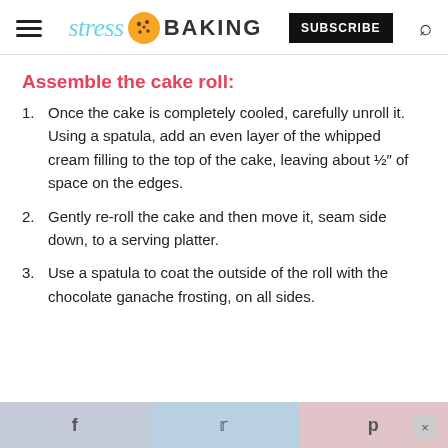stress BAKING | SUBSCRIBE
Assemble the cake roll:
Once the cake is completely cooled, carefully unroll it. Using a spatula, add an even layer of the whipped cream filling to the top of the cake, leaving about ½″ of space on the edges.
Gently re-roll the cake and then move it, seam side down, to a serving platter.
Use a spatula to coat the outside of the roll with the chocolate ganache frosting, on all sides.
f  t  p  ×